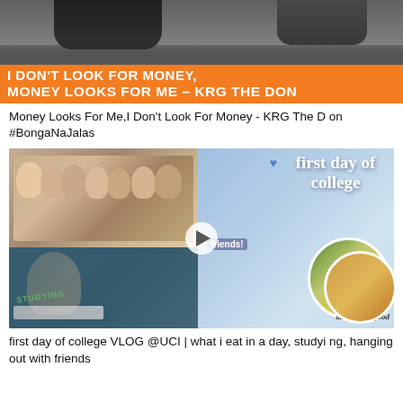[Figure (photo): YouTube thumbnail with dark background showing a person and orange banner text: I DON'T LOOK FOR MONEY, MONEY LOOKS FOR ME - KRG THE DON]
Money Looks For Me,I Don't Look For Money - KRG The Don #BongaNaJalas
[Figure (photo): YouTube video thumbnail collage showing first day of college VLOG at UCI - group of Asian women at restaurant table, girl studying, friends hanging out in circles, food plate, text overlay 'first day of college']
first day of college VLOG @UCI | what i eat in a day, studying, hanging out with friends